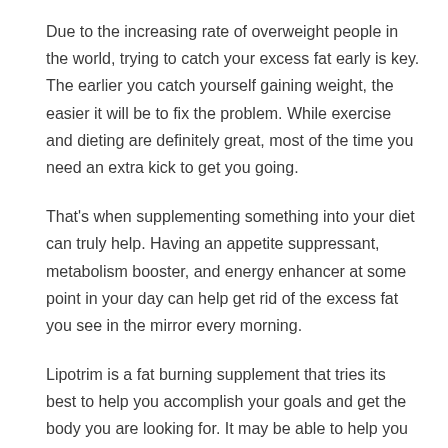Due to the increasing rate of overweight people in the world, trying to catch your excess fat early is key. The earlier you catch yourself gaining weight, the easier it will be to fix the problem. While exercise and dieting are definitely great, most of the time you need an extra kick to get you going.
That's when supplementing something into your diet can truly help. Having an appetite suppressant, metabolism booster, and energy enhancer at some point in your day can help get rid of the excess fat you see in the mirror every morning.
Lipotrim is a fat burning supplement that tries its best to help you accomplish your goals and get the body you are looking for. It may be able to help you eat less, and workout more.
How Does Lipotrim Work?